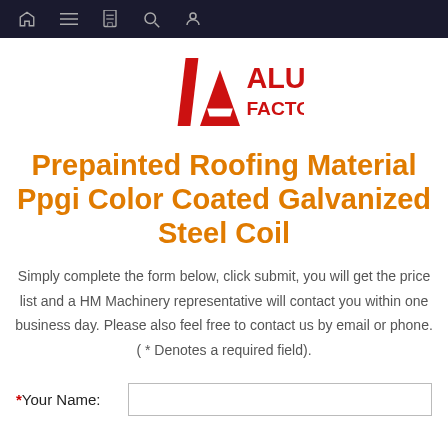Navigation bar with home, menu, book, search, and user icons
[Figure (logo): ALU FACTORY logo in red with triangular A symbol]
Prepainted Roofing Material Ppgi Color Coated Galvanized Steel Coil
Simply complete the form below, click submit, you will get the price list and a HM Machinery representative will contact you within one business day. Please also feel free to contact us by email or phone. ( * Denotes a required field).
*Your Name: